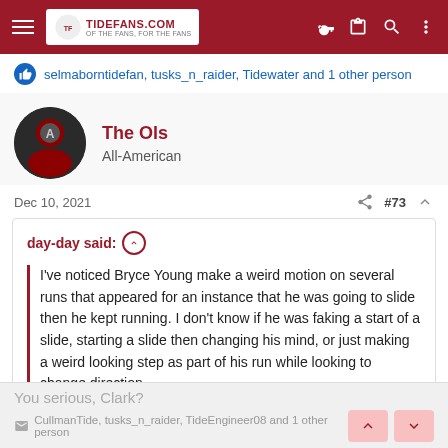TideFans.com navigation bar
selmaborntidefan, tusks_n_raider, Tidewater and 1 other person
The Ols
All-American
Dec 10, 2021  #73
day-day said: ↑

I've noticed Bryce Young make a weird motion on several runs that appeared for an instance that he was going to slide then he kept running. I don't know if he was faking a start of a slide, starting a slide then changing his mind, or just making a weird looking step as part of his run while looking to change direction.
You serious, Clark?
CullmanTide, tusks_n_raider, TideEngineer08 and 1 other person